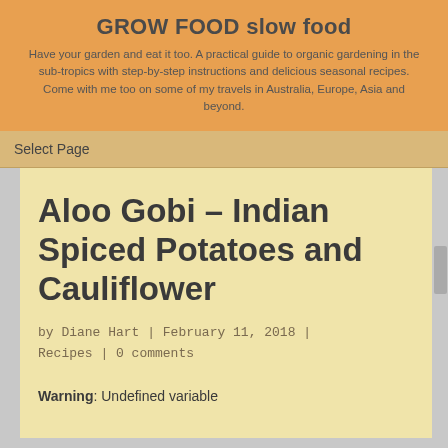GROW FOOD slow food
Have your garden and eat it too. A practical guide to organic gardening in the sub-tropics with step-by-step instructions and delicious seasonal recipes. Come with me too on some of my travels in Australia, Europe, Asia and beyond.
Select Page
Aloo Gobi – Indian Spiced Potatoes and Cauliflower
by Diane Hart | February 11, 2018 | Recipes | 0 comments
Warning: Undefined variable